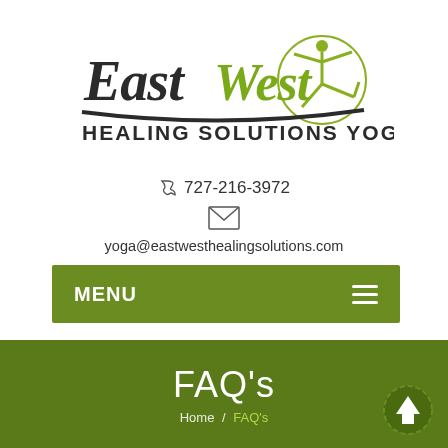[Figure (logo): East West Healing Solutions Yoga logo with yoga figure silhouette in circle]
727-216-3972
[Figure (other): Email envelope icon]
yoga@eastwesthealingsolutions.com
MENU
FAQ's
Home / FAQ's